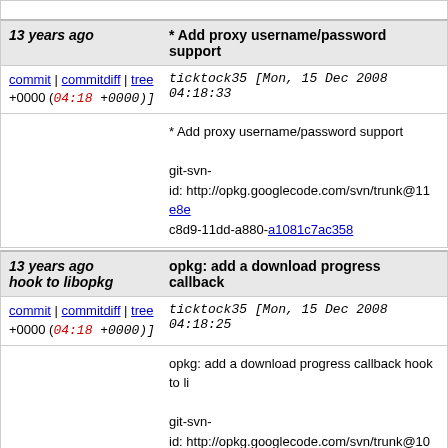13 years ago * Add proxy username/password support
commit | commitdiff | tree ticktock35 [Mon, 15 Dec 2008 04:18:33 +0000 (04:18 +0000)]
* Add proxy username/password support

git-svn-id: http://opkg.googlecode.com/svn/trunk@11 e8ec8d9-11dd-a880-a1081c7ac358
13 years ago opkg: add a download progress callback hook to libopkg
commit | commitdiff | tree ticktock35 [Mon, 15 Dec 2008 04:18:25 +0000 (04:18 +0000)]
opkg: add a download progress callback hook to li

git-svn-id: http://opkg.googlecode.com/svn/trunk@10 e8ec8d9-11dd-a880-a1081c7ac358
13 years ago opkg: fix progress bar
commit | commitdiff | tree ticktock35 [Mon, 15 Dec 2008 04:18:16 +0000 (04:18 +0000)]